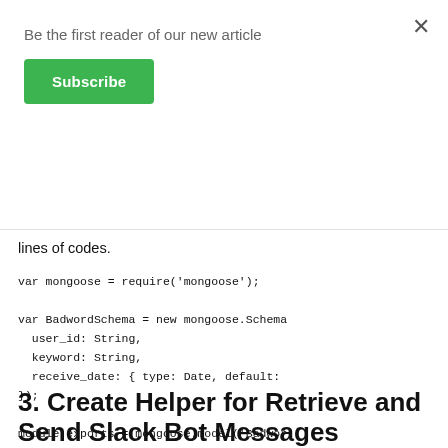Be the first reader of our new article
Subscribe
lines of codes.
[Figure (screenshot): Code block showing mongoose schema definition and module.exports]
3. Create Helper for Retrieve and Send Slack Bot Messages